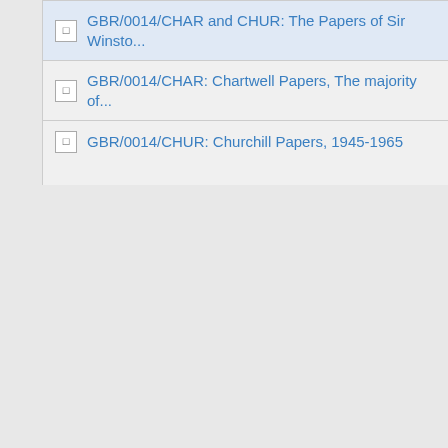GBR/0014/CHAR and CHUR: The Papers of Sir Winsto...
GBR/0014/CHAR: Chartwell Papers, The majority of...
GBR/0014/CHUR: Churchill Papers, 1945-1965